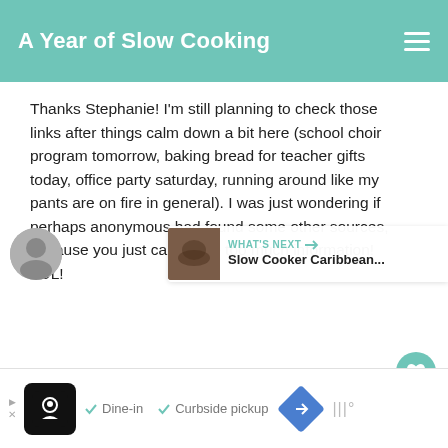A Year of Slow Cooking
Thanks Stephanie! I'm still planning to check those links after things calm down a bit here (school choir program tomorrow, baking bread for teacher gifts today, office party saturday, running around like my pants are on fire in general). I was just wondering if perhaps anonymous had found some other sources, because you just can't have too much information! LOL!
DELETE
WHAT'S NEXT → Slow Cooker Caribbean...
[Figure (screenshot): Ad banner with restaurant logo, Dine-in and Curbside pickup checkmarks, navigation icon, and WW logo]